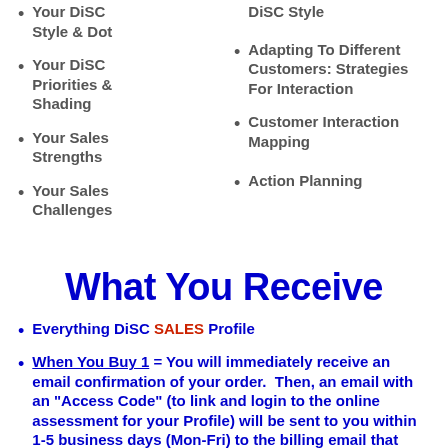Your DiSC Style & Dot
DiSC Style
Your DiSC Priorities & Shading
Adapting To Different Customers:  Strategies For Interaction
Your Sales Strengths
Customer Interaction Mapping
Your Sales Challenges
Action Planning
What You Receive
Everything DiSC SALES Profile
When You Buy 1 = You will immediately receive an email confirmation of your order.  Then, an email with an "Access Code" (to link and login to the online assessment for your Profile) will be sent to you within 1-5 business days (Mon-Fri) to the billing email that was ent...